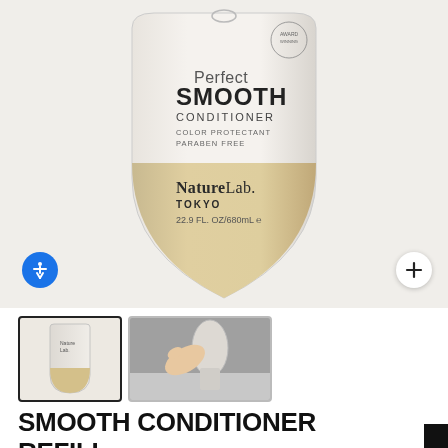[Figure (photo): Product photo of NatureLab Tokyo Perfect Smooth Conditioner refill pouch (22.9 FL OZ/680mL), white and tan/beige colored flexible pouch on a light gray background. Accessibility icon button on left, plus button on right.]
[Figure (photo): Thumbnail 1: Small front view of the conditioner refill pouch]
[Figure (photo): Thumbnail 2: Hand pouring contents from the refill pouch]
SMOOTH CONDITIONER REFILL
★★★★★ 189 Reviews